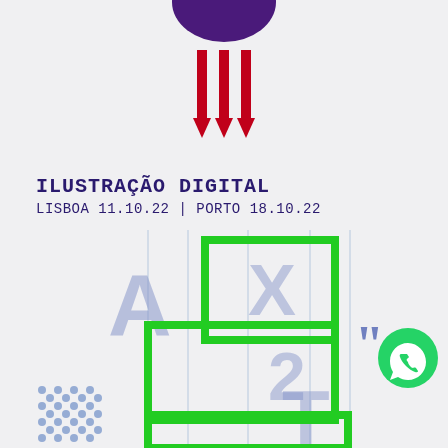[Figure (illustration): Top portion shows a purple semicircle at top with three red downward-pointing arrows below it, on a light gray background. Bottom portion shows typography/design grid illustration with large blue letters A, X, 2, T on a vertical grid with green rectangle outlines, blue quotation marks on the right, a green WhatsApp icon circle, and a dotted blue pattern on the lower left.]
ILUSTRAÇÃO DIGITAL
LISBOA 11.10.22 | PORTO 18.10.22